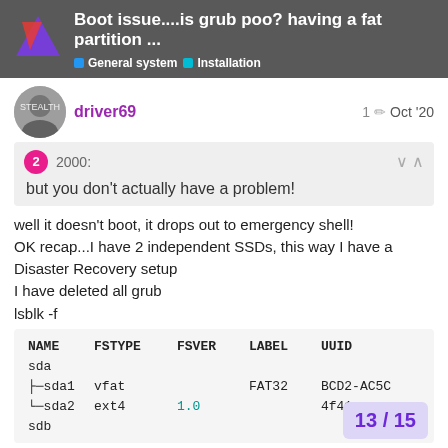Boot issue....is grub poo? having a fat partition ...
driver69
1  Oct '20
2  2000:
but you don't actually have a problem!
well it doesn't boot, it drops out to emergency shell!
OK recap...I have 2 independent SSDs, this way I have a Disaster Recovery setup
I have deleted all grub
lsblk -f
| NAME | FSTYPE | FSVER | LABEL | UUID |
| --- | --- | --- | --- | --- |
| sda |  |  |  |  |
| ├─sda1 | vfat |  | FAT32 | BCD2-AC5C |
| └─sda2 | ext4 | 1.0 |  | 4f41 |
| sdb |  |  |  |  |
13 / 15